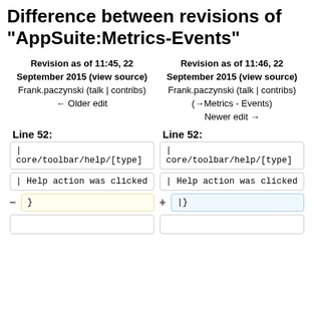Difference between revisions of "AppSuite:Metrics-Events"
Revision as of 11:45, 22 September 2015 (view source)
Frank.paczynski (talk | contribs)
← Older edit
Revision as of 11:46, 22 September 2015 (view source)
Frank.paczynski (talk | contribs)
(→Metrics - Events)
Newer edit →
Line 52:
Line 52:
| core/toolbar/help/[type]
| core/toolbar/help/[type]
| Help action was clicked
| Help action was clicked
}
|}